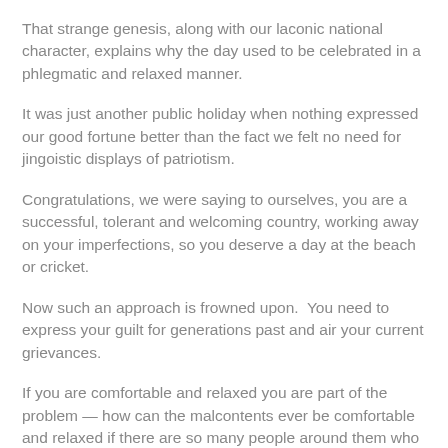That strange genesis, along with our laconic national character, explains why the day used to be celebrated in a phlegmatic and relaxed manner.
It was just another public holiday when nothing expressed our good fortune better than the fact we felt no need for jingoistic displays of patriotism.
Congratulations, we were saying to ourselves, you are a successful, tolerant and welcoming country, working away on your imperfections, so you deserve a day at the beach or cricket.
Now such an approach is frowned upon.  You need to express your guilt for generations past and air your current grievances.
If you are comfortable and relaxed you are part of the problem — how can the malcontents ever be comfortable and relaxed if there are so many people around them who are comfortable and relaxed?